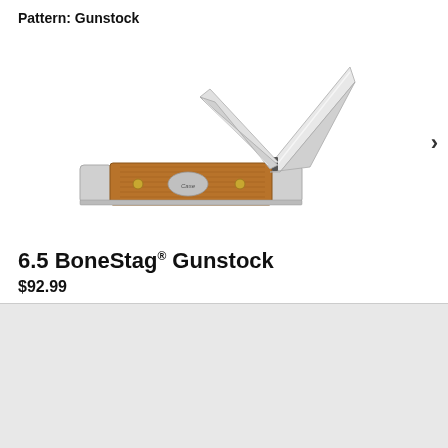Pattern: Gunstock
[Figure (photo): A Case pocket knife with bone stag handle displayed open, showing two blades extended — a main clip blade and a smaller pen blade. The handle is brown/amber colored bone stag material with silver bolsters and brass pins. The Case brand shield is visible on the handle.]
6.5 BoneStag® Gunstock
$92.99
By continuing on this website you consent to our use of cookies and similar technology, which collect and share with third parties the IP address of your device and browsing information, to make your browsing experience as useful as possible. For more information, see our Privacy Policy and Cookie Policy